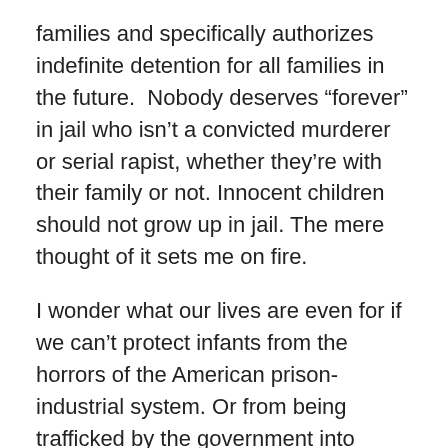families and specifically authorizes indefinite detention for all families in the future.  Nobody deserves “forever” in jail who isn’t a convicted murderer or serial rapist, whether they’re with their family or not. Innocent children should not grow up in jail. The mere thought of it sets me on fire.
I wonder what our lives are even for if we can’t protect infants from the horrors of the American prison-industrial system. Or from being trafficked by the government into illegal adoptions. (Many of the detained children have been sent to Michigan to be under the care of Bethany Christian Services. It is an adoption agency with ties to Betsy DeVos. The adoption system in America is a multi-billion dollar industry.)
Why are we asking #wherearethegirls? Why are we asking #wherearethebabies? Why are we accepting that the